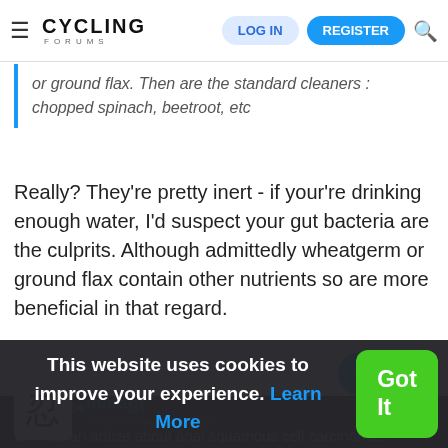Cycling Forums — LOG IN | REGISTER
or ground flax. Then are the standard cleaners : chopped spinach, beetroot, etc
Really? They're pretty inert - if your're drinking enough water, I'd suspect your gut bacteria are the culprits. Although admittedly wheatgerm or ground flax contain other nutrients so are more beneficial in that regard.
matagi
Well-Known Member
Dec 6, 2014
#65,683
This website uses cookies to improve your experience. Learn More  Got It